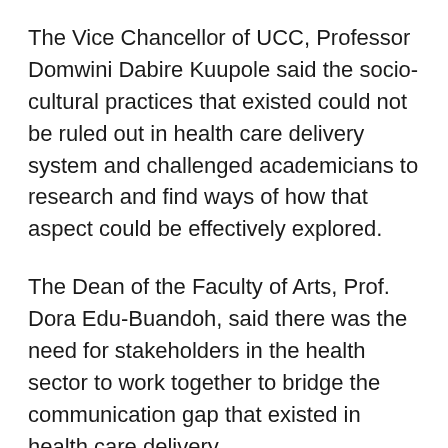The Vice Chancellor of UCC, Professor Domwini Dabire Kuupole said the socio-cultural practices that existed could not be ruled out in health care delivery system and challenged academicians to research and find ways of how that aspect could be effectively explored.
The Dean of the Faculty of Arts, Prof. Dora Edu-Buandoh, said there was the need for stakeholders in the health sector to work together to bridge the communication gap that existed in health care delivery.
She said it was for such reason that the Faculty had created the platform for issues of national